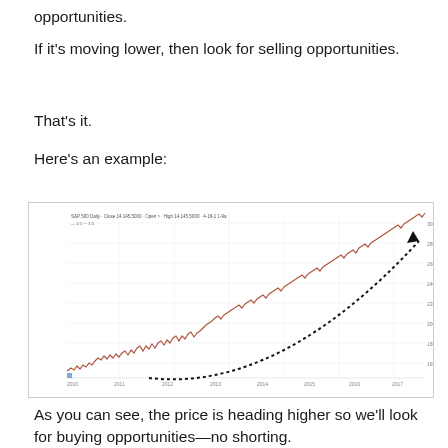opportunities.
If it’s moving lower, then look for selling opportunities.
That’s it.
Here’s an example:
[Figure (continuous-plot): Stock price chart showing an upward trending price line (brownish-red candlestick/line chart) over time with a dotted curved arrow overlaid, curving from lower left to upper right, indicating the upward price direction. The chart has a y-axis on the right with price levels and an x-axis with time labels. A small legend is visible in the top-left of the chart area.]
As you can see, the price is heading higher so we’ll look for buying opportunities—no shorting.